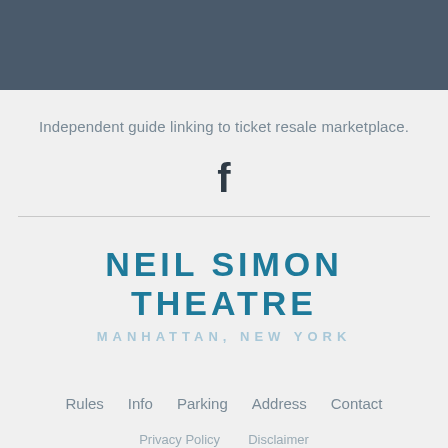Independent guide linking to ticket resale marketplace.
[Figure (logo): Facebook 'f' icon in dark color]
NEIL SIMON THEATRE
MANHATTAN, NEW YORK
Rules   Info   Parking   Address   Contact
Privacy Policy   Disclaimer